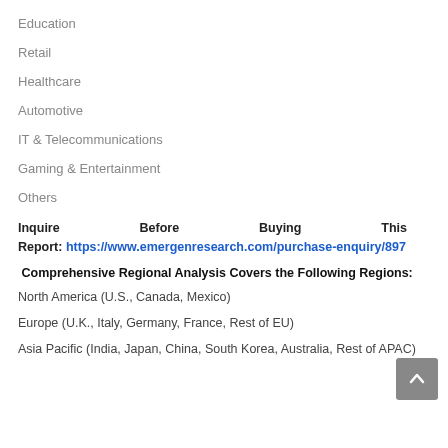Education
Retail
Healthcare
Automotive
IT & Telecommunications
Gaming & Entertainment
Others
Inquire Before Buying This Report: https://www.emergenresearch.com/purchase-enquiry/897
Comprehensive Regional Analysis Covers the Following Regions:
North America (U.S., Canada, Mexico)
Europe (U.K., Italy, Germany, France, Rest of EU)
Asia Pacific (India, Japan, China, South Korea, Australia, Rest of APAC)